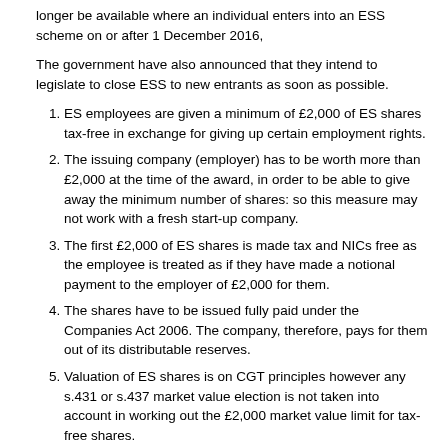longer be available where an individual enters into an ESS scheme on or after 1 December 2016,
The government have also announced that they intend to legislate to close ESS to new entrants as soon as possible.
ES employees are given a minimum of £2,000 of ES shares tax-free in exchange for giving up certain employment rights.
The issuing company (employer) has to be worth more than £2,000 at the time of the award, in order to be able to give away the minimum number of shares: so this measure may not work with a fresh start-up company.
The first £2,000 of ES shares is made tax and NICs free as the employee is treated as if they have made a notional payment to the employer of £2,000 for them.
The shares have to be issued fully paid under the Companies Act 2006. The company, therefore, pays for them out of its distributable reserves.
Valuation of ES shares is on CGT principles however any s.431 or s.437 market value election is not taken into account in working out the £2,000 market value limit for tax-free shares.